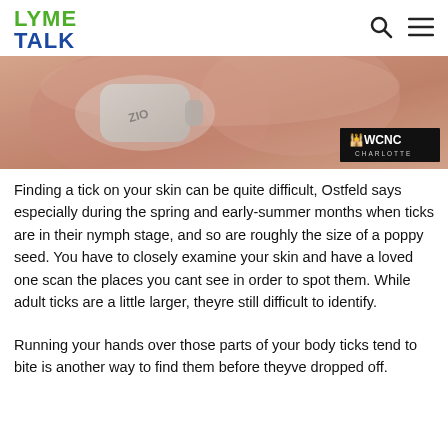LYME TALK
[Figure (photo): Close-up photo of a person's skin/shoulder area with a small medical monitoring device (Zio patch) attached, with WCNC Charlotte logo watermark in bottom right corner]
Finding a tick on your skin can be quite difficult, Ostfeld says especially during the spring and early-summer months when ticks are in their nymph stage, and so are roughly the size of a poppy seed. You have to closely examine your skin and have a loved one scan the places you cant see in order to spot them. While adult ticks are a little larger, theyre still difficult to identify.
Running your hands over those parts of your body ticks tend to bite is another way to find them before theyve dropped off.